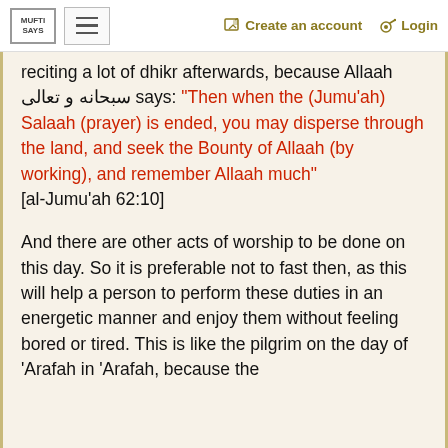MUFTI SAYS | ☰ | Create an account | Login
reciting a lot of dhikr afterwards, because Allaah سبحانه و تعالى says: "Then when the (Jumu'ah) Salaah (prayer) is ended, you may disperse through the land, and seek the Bounty of Allaah (by working), and remember Allaah much" [al-Jumu'ah 62:10]
And there are other acts of worship to be done on this day. So it is preferable not to fast then, as this will help a person to perform these duties in an energetic manner and enjoy them without feeling bored or tired. This is like the pilgrim on the day of 'Arafah in 'Arafah, because the Sunnah is for him not to fast so that he...